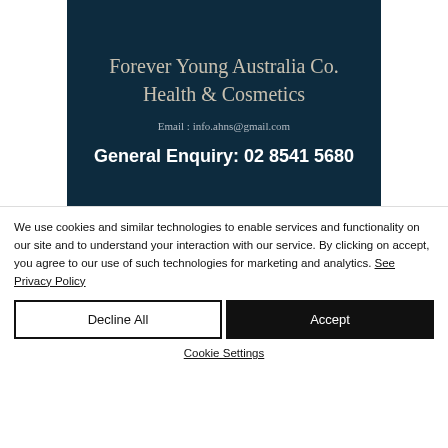[Figure (other): Dark navy blue banner for 'Forever Young Australia Co. Health & Cosmetics' with email info.ahns@gmail.com and phone General Enquiry: 02 8541 5680]
We use cookies and similar technologies to enable services and functionality on our site and to understand your interaction with our service. By clicking on accept, you agree to our use of such technologies for marketing and analytics. See Privacy Policy
Decline All
Accept
Cookie Settings